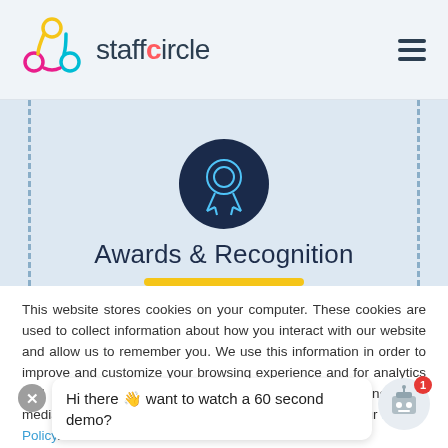[Figure (logo): StaffCircle logo with circular icon of people and text 'staffcircle' with orange dot on 'i', plus hamburger menu icon on the right]
[Figure (illustration): Award ribbon/badge icon in light blue outline on dark navy circle background, centered in a light blue banner with dashed vertical borders on left and right sides]
Awards & Recognition
This website stores cookies on your computer. These cookies are used to collect information about how you interact with our website and allow us to remember you. We use this information in order to improve and customize your browsing experience and for analytics and metrics about our visitors both on this website and other media. To find out more about the cookies we use, see our Privacy Policy.
Hi there 👋 want to watch a 60 second demo?